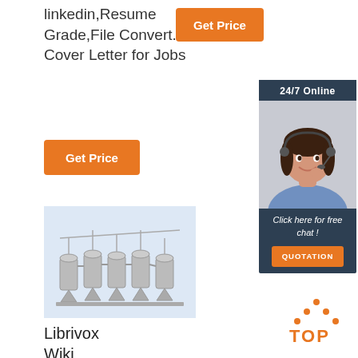linkedin,Resume Grade,File Convert. Cover Letter for Jobs
[Figure (other): Orange 'Get Price' button (top right of text)]
[Figure (other): Orange 'Get Price' button (below text)]
[Figure (photo): Industrial machinery / processing equipment on light blue background]
[Figure (infographic): Side panel: 24/7 Online header, customer service representative photo, 'Click here for free chat!' text, orange QUOTATION button]
Librivox Wiki
Mar 21
[Figure (logo): TOP logo with orange dots forming a triangle above the word TOP in orange]